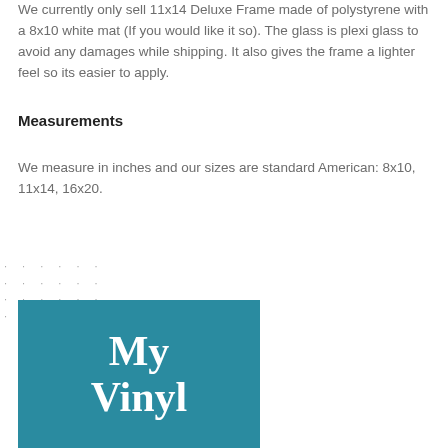We currently only sell 11x14 Deluxe Frame made of polystyrene with a 8x10 white mat (If you would like it so). The glass is plexi glass to avoid any damages while shipping. It also gives the frame a lighter feel so its easier to apply.
Measurements
We measure in inches and our sizes are standard American: 8x10, 11x14, 16x20.
[Figure (other): Dot grid pattern]
[Figure (logo): My Vinyl logo on teal/blue background]